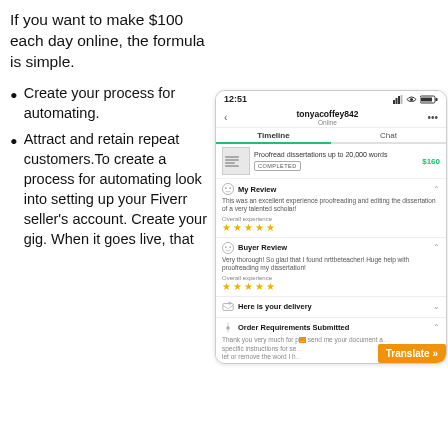If you want to make $100 each day online, the formula is simple.
Create your process for automating.
Attract and retain repeat customers. To create a process for automating look into setting up your Fiverr seller's account. Create your gig. When it goes live, that
[Figure (screenshot): Mobile app screenshot showing a Fiverr order timeline with completed proofreading order for $160, My Review section with 5-star rating and text 'This was an excellent experience proofreading and editing the dissertation of a very talented scholar!', Buyer Review section with 5-star rating and text 'Very thorough! So glad that I found nrttbeteacher! Huge help with proofreading my dissertation!', Here is your delivery section, Order Requirements Submitted section, and a Translate button in the bottom right corner.]